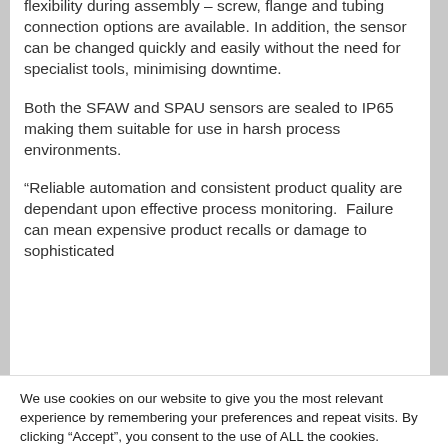flexibility during assembly – screw, flange and tubing connection options are available. In addition, the sensor can be changed quickly and easily without the need for specialist tools, minimising downtime.
Both the SFAW and SPAU sensors are sealed to IP65 making them suitable for use in harsh process environments.
“Reliable automation and consistent product quality are dependant upon effective process monitoring.  Failure can mean expensive product recalls or damage to  sophisticated
We use cookies on our website to give you the most relevant experience by remembering your preferences and repeat visits. By clicking “Accept”, you consent to the use of ALL the cookies.
Cookie settings
ACCEPT